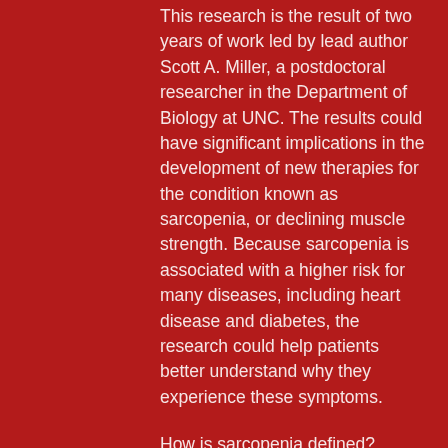This research is the result of two years of work led by lead author Scott A. Miller, a postdoctoral researcher in the Department of Biology at UNC. The results could have significant implications in the development of new therapies for the condition known as sarcopenia, or declining muscle strength. Because sarcopenia is associated with a higher risk for many diseases, including heart disease and diabetes, the research could help patients better understand why they experience these symptoms.
How is sarcopenia defined?
Sarcopenia causes the loss or atrophy of muscle fibers which are made of cells called myoblasts. The main muscle fiber types made during adulthood include slow twitch, fast twitch and medium twitch. As we age, fast twitch fibers become increasingly weakened, while medium twitch fibers